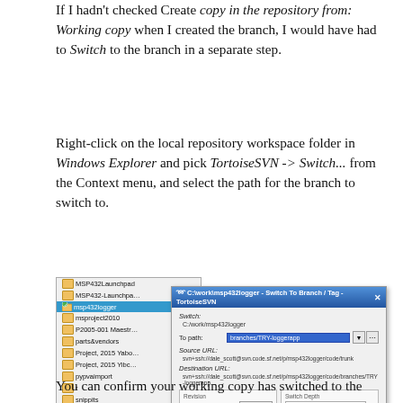If I hadn't checked Create copy in the repository from: Working copy when I created the branch, I would have had to Switch to the branch in a separate step.
Right-click on the local repository workspace folder in Windows Explorer and pick TortoiseSVN -> Switch... from the Context menu, and select the path for the branch to switch to.
[Figure (screenshot): Screenshot of TortoiseSVN 'Switch To Branch / Tag' dialog overlaid on Windows Explorer file list. The dialog shows Switch field (C:/work/msp432logger), 'To path:' field with 'branches/TRY-loggerapp' highlighted in blue, Source URL and Destination URL fields, Revision section with HEAD revision selected and Show log button, and Switch Depth section with Working copy dropdown. OK and Cancel buttons at bottom. A reCAPTCHA badge is visible in the bottom-right corner.]
You can confirm your working copy has switched to the